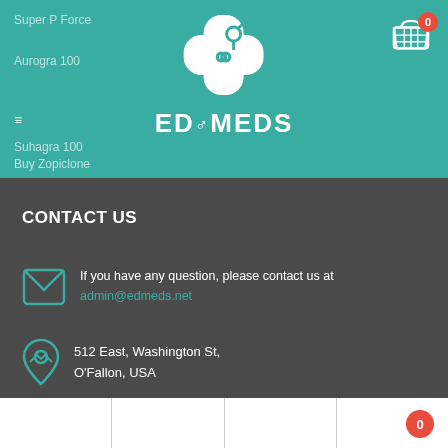[Figure (logo): ED Meds website header with teal background, logo icon (medical cross with gender symbols), ED♂MEDS text, navigation menu items (Super P Force, Aurogra 100, Suhagra 100, Buy Zopiclone), hamburger menu icon, and shopping cart with badge showing 0]
CONTACT US
If you have any question, please contact us at admin@edmeds.net
512 East, Washington St, O'Fallon, USA
+1 646 – 918 – 1612